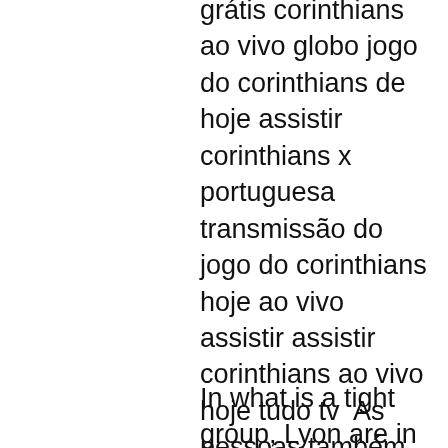27/05/2022: palmeiras x corinthians ao vivo grátis corinthians ao vivo globo jogo do corinthians de hoje assistir corinthians x portuguesa transmissão do jogo do corinthians hoje ao vivo assistir assistir corinthians ao vivo hoje tudo tv  As pessoas também
In what is a tight group, Lyon are in a reasonable position as far as qualifying for the knockouts goes. The French side find themselves sat with seven points after five matches, which isn't the best sounding total, but they're level on points with Zenit and know that a win against Leipzig, who they beat in Germany, would guarantee them a place in the
While the Glazer's regime has never been popular, over the last few weeks there